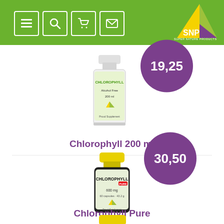SNP Super Nature Products - Navigation bar with menu, search, cart, mail icons
[Figure (photo): SNP Chlorophyll 200ml bottle with price bubble showing 19,25]
Chlorophyll 200 ml
[Figure (photo): SNP Chlorophyll Pure 600mg capsules bottle with price bubble showing 30,50]
Chlorophyll Pure
[Figure (photo): Third product bottle partially visible at bottom of page]